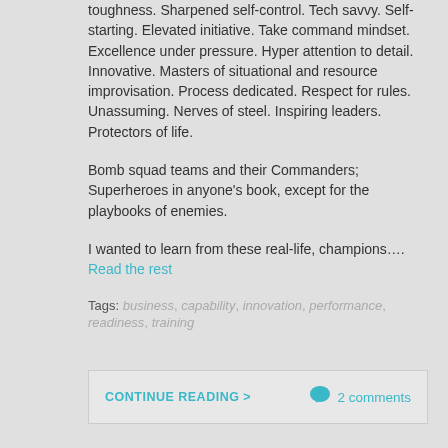toughness. Sharpened self-control. Tech savvy. Self-starting. Elevated initiative. Take command mindset. Excellence under pressure. Hyper attention to detail. Innovative. Masters of situational and resource improvisation. Process dedicated. Respect for rules. Unassuming. Nerves of steel. Inspiring leaders. Protectors of life.
Bomb squad teams and their Commanders; Superheroes in anyone's book, except for the playbooks of enemies.
I wanted to learn from these real-life, champions…. Read the rest
Tags: business, capability, innovation, performance, readiness, training
CONTINUE READING > 2 comments